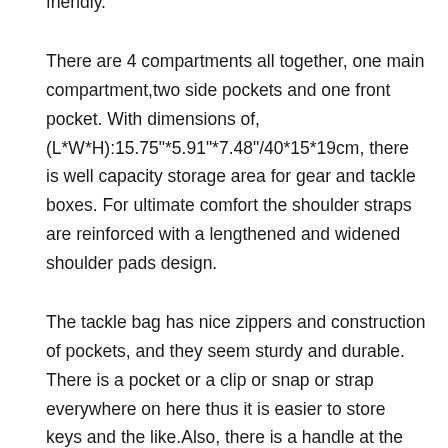friendly.
There are 4 compartments all together, one main compartment,two side pockets and one front pocket. With dimensions of, (L*W*H):15.75"*5.91"*7.48"/40*15*19cm, there is well capacity storage area for gear and tackle boxes. For ultimate comfort the shoulder straps are reinforced with a lengthened and widened shoulder pads design.
The tackle bag has nice zippers and construction of pockets, and they seem sturdy and durable. There is a pocket or a clip or snap or strap everywhere on here thus it is easier to store keys and the like.Also, there is a handle at the top of the tackle bag, making it easier to carry.
This tackle bag comes with 3 plastic boxes so you will be able o store all your lures, hooks and baits without a problem. It also has washing instructions to enable the upkeep of the bag such as, to keep your fishing tackle bag looking its best hand wash in cool